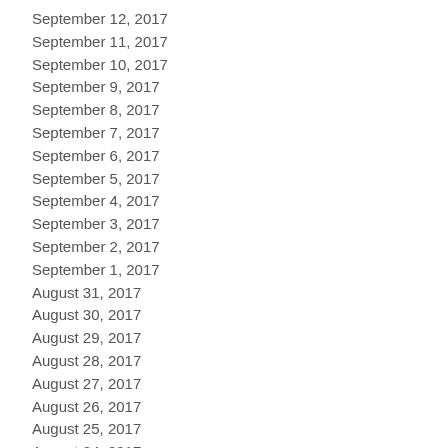September 12, 2017
September 11, 2017
September 10, 2017
September 9, 2017
September 8, 2017
September 7, 2017
September 6, 2017
September 5, 2017
September 4, 2017
September 3, 2017
September 2, 2017
September 1, 2017
August 31, 2017
August 30, 2017
August 29, 2017
August 28, 2017
August 27, 2017
August 26, 2017
August 25, 2017
August 24, 2017
August 23, 2017
August 22, 2017
August 21, 2017